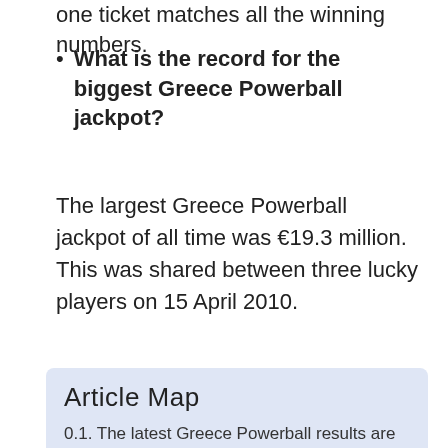one ticket matches all the winning numbers.
What is the record for the biggest Greece Powerball jackpot?
The largest Greece Powerball jackpot of all time was €19.3 million. This was shared between three lucky players on 15 April 2010.
Article Map
0.1. The latest Greece Powerball results are out, following the draw on Sunday 27 March 2022.
0.1.1. Greece Powerball results:
0.2. Estimated Jackpot
0.3. Current Draw and Jackpot History